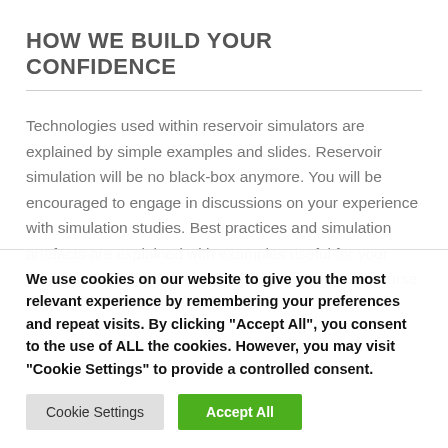HOW WE BUILD YOUR CONFIDENCE
Technologies used within reservoir simulators are explained by simple examples and slides. Reservoir simulation will be no black-box anymore. You will be encouraged to engage in discussions on your experience with simulation studies. Best practices and simulation artefacts are explained with examples useful for your projects. Exchange among participants during the course is
We use cookies on our website to give you the most relevant experience by remembering your preferences and repeat visits. By clicking "Accept All", you consent to the use of ALL the cookies. However, you may visit "Cookie Settings" to provide a controlled consent.
Cookie Settings | Accept All